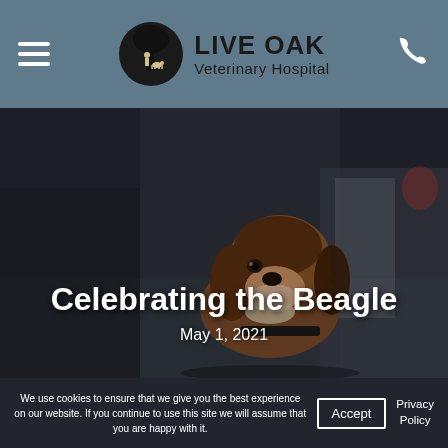LIVE OAK Veterinary Hospital
[Figure (photo): A beagle dog looking up at the camera on a blurry city street background]
Celebrating the Beagle
May 1, 2021
We use cookies to ensure that we give you the best experience on our website. If you continue to use this site we will assume that you are happy with it.
Accept
Privacy Policy